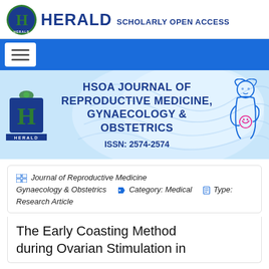HERALD SCHOLARLY OPEN ACCESS
[Figure (logo): Herald Scholarly Open Access logo with gothic H emblem in green and blue]
[Figure (illustration): HSOA Journal of Reproductive Medicine, Gynaecology & Obstetrics banner with Herald logo, wave background, and mother-child illustration. ISSN: 2574-2574]
Journal of Reproductive Medicine Gynaecology & Obstetrics  Category: Medical  Type: Research Article
The Early Coasting Method during Ovarian Stimulation in